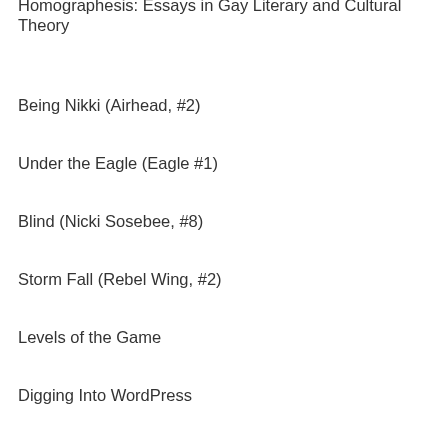Homographesis: Essays in Gay Literary and Cultural Theory
Being Nikki (Airhead, #2)
Under the Eagle (Eagle #1)
Blind (Nicki Sosebee, #8)
Storm Fall (Rebel Wing, #2)
Levels of the Game
Digging Into WordPress
Above the Bay of Angels
Prophecy (Antigone: The True Story, #1)
The Design of Everyday Things